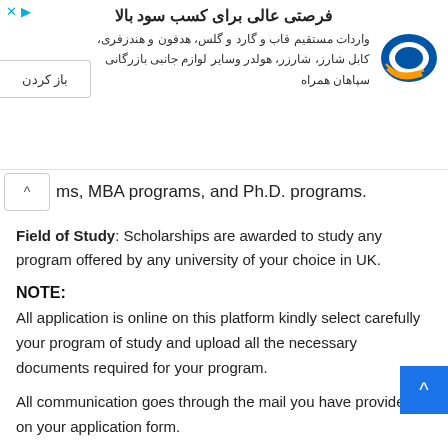[Figure (other): Persian-language advertisement banner for Sepahan Hamrah importing accessories (phone cases, covers, headphones, chargers, holders) with logo, open button, and close X.]
ms, MBA programs, and Ph.D. programs.
Field of Study: Scholarships are awarded to study any program offered by any university of your choice in UK.
NOTE:
All application is online on this platform kindly select carefully your program of study and upload all the necessary documents required for your program.
All communication goes through the mail you have provided on your application form.
How To Apply For Royal